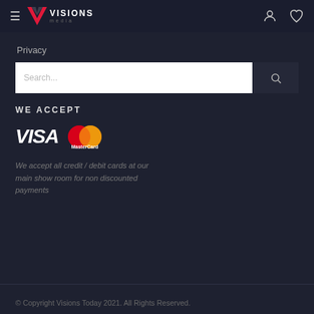≡ VISIONS media — header with user and wishlist icons
Privacy
Search...
WE ACCEPT
[Figure (logo): VISA and MasterCard payment logos]
We accept all credit / debit cards at our main show room for non discounted payments
© Copyright Visions Today 2021.  All Rights Reserved.